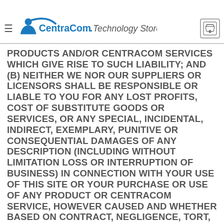CentraCom Technology Store
OF CONTRACT, TORT OR ANY OTHER LEGAL THEORY), ALL CIRCUMSTANCES EXCEED THE AMOUNT ACTUALLY PAID BY YOU FOR THE APPLICABLE PRODUCTS AND/OR CENTRACOM SERVICES WHICH GIVE RISE TO SUCH LIABILITY; AND (b) NEITHER WE NOR OUR SUPPLIERS OR LICENSORS SHALL BE RESPONSIBLE OR LIABLE TO YOU FOR ANY LOST PROFITS, COST OF SUBSTITUTE GOODS OR SERVICES, OR ANY SPECIAL, INCIDENTAL, INDIRECT, EXEMPLARY, PUNITIVE OR CONSEQUENTIAL DAMAGES OF ANY DESCRIPTION (INCLUDING WITHOUT LIMITATION LOSS OR INTERRUPTION OF BUSINESS) IN CONNECTION WITH YOUR USE OF THIS SITE OR YOUR PURCHASE OR USE OF ANY PRODUCT OR CENTRACOM SERVICE, HOWEVER CAUSED AND WHETHER BASED ON CONTRACT, NEGLIGENCE, TORT, WARRANTY, STRICT LIABILITY, OR ANY OTHER LEGAL THEORY, WHETHER OR NOT WE WERE AWARE OR ADVDSED OF